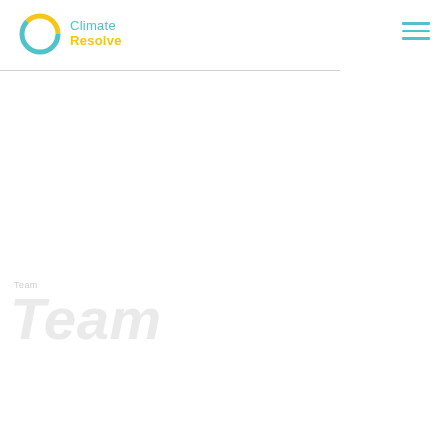[Figure (logo): Climate Resolve logo with circular icon in teal and yellow, with text 'Climate' in teal and 'Resolve' in yellow]
Team